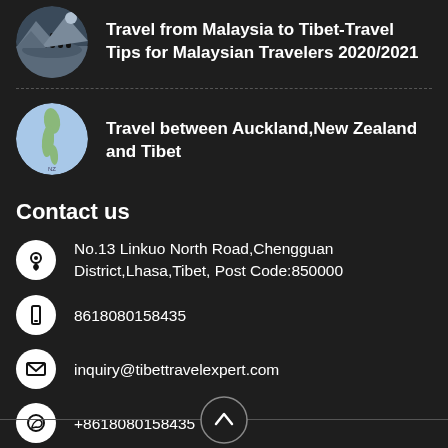[Figure (photo): Circular thumbnail of group of travelers in mountainous Tibet landscape]
Travel from Malaysia to Tibet-Travel Tips for Malaysian Travelers 2020/2021
[Figure (photo): Circular map image showing New Zealand location]
Travel between Auckland,New Zealand and Tibet
Contact us
No.13 Linkuo North Road,Chengguan District,Lhasa,Tibet, Post Code:850000
8618080158435
inquiry@tibettravelexpert.com
+8618080158435